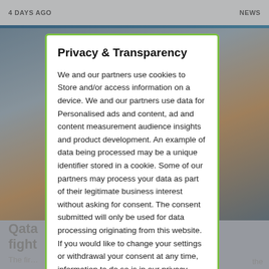4 DAYS AGO    NEWS
[Figure (screenshot): Background webpage showing a news article with headline 'Qatar... fight...' and a photo of an outdoor venue]
Privacy & Transparency
We and our partners use cookies to Store and/or access information on a device. We and our partners use data for Personalised ads and content, ad and content measurement audience insights and product development. An example of data being processed may be a unique identifier stored in a cookie. Some of our partners may process your data as part of their legitimate business interest without asking for consent. The consent submitted will only be used for data processing originating from this website. If you would like to change your settings or withdrawal your consent at any time, information to do so is in our privacy policy.
Manage   Allow